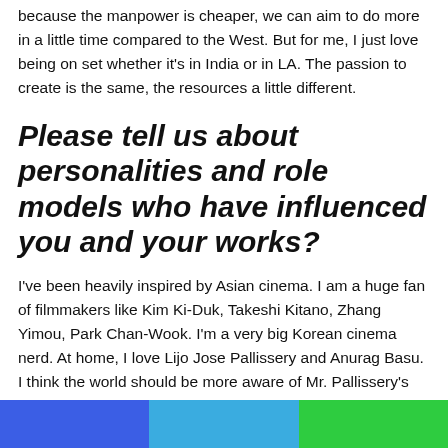because the manpower is cheaper, we can aim to do more in a little time compared to the West. But for me, I just love being on set whether it's in India or in LA. The passion to create is the same, the resources a little different.
Please tell us about personalities and role models who have influenced you and your works?
I've been heavily inspired by Asian cinema. I am a huge fan of filmmakers like Kim Ki-Duk, Takeshi Kitano, Zhang Yimou, Park Chan-Wook. I'm a very big Korean cinema nerd. At home, I love Lijo Jose Pallissery and Anurag Basu. I think the world should be more aware of Mr. Pallissery's work. He is